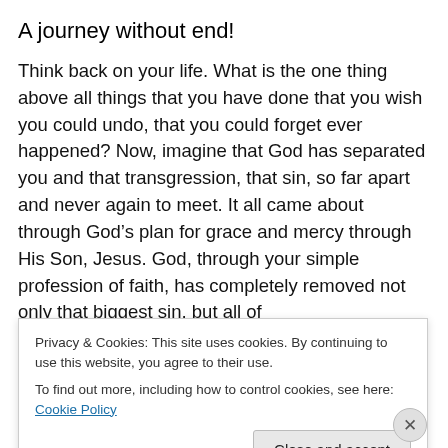A journey without end!
Think back on your life. What is the one thing above all things that you have done that you wish you could undo, that you could forget ever happened? Now, imagine that God has separated you and that transgression, that sin, so far apart and never again to meet. It all came about through God’s plan for grace and mercy through His Son, Jesus. God, through your simple profession of faith, has completely removed not only that biggest sin, but all of
Privacy & Cookies: This site uses cookies. By continuing to use this website, you agree to their use.
To find out more, including how to control cookies, see here: Cookie Policy
Close and accept